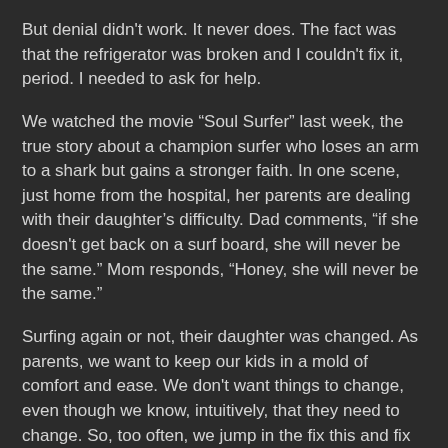But denial didn't work. It never does. The fact was that the refrigerator was broken and I couldn't fix it, period. I needed to ask for help.
We watched the movie “Soul Surfer” last week, the true story about a champion surfer who loses an arm to a shark but gains a stronger faith. In one scene, just home from the hospital, her parents are dealing with their daughter’s difficulty. Dad comments, “if she doesn't get back on a surf board, she will never be the same.” Mom responds, “Honey, she will never be the same.”
Surfing again or not, their daughter was changed. As parents, we want to keep our kids in a mold of comfort and ease. We don't want things to change, even though we know, intuitively, that they need to change. So, too often, we jump in the fix this and fix that. Intuitively, we attempt to fix problems to produce as small a consequence as possible.
But sometimes our kids need to live with the damage. Sometimes, the process of the trial and the scares left behind to shape our kids more than we can imagine. Sometimes